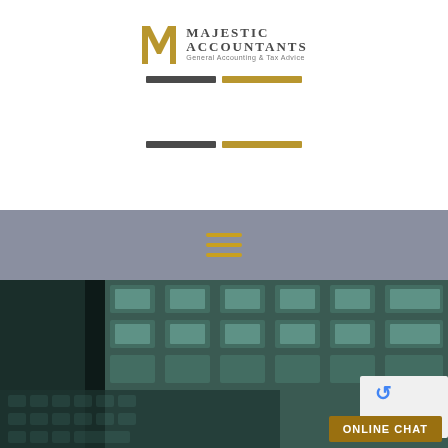[Figure (logo): Majestic Accountants logo with golden M letter and text 'MAJESTIC ACCOUNTANTS - General Accounting & Tax Advice']
[Figure (infographic): Navigation bar decorative elements: dark gray and gold horizontal bars]
[Figure (infographic): Second set of navigation bar decorative elements: dark gray and gold horizontal bars]
[Figure (infographic): Gray navigation banner with golden hamburger menu icon (three horizontal lines)]
[Figure (photo): Blurred office photo showing a keyboard and ceiling lights with teal/green toning]
ONLINE CHAT